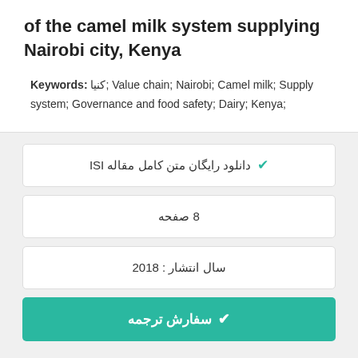of the camel milk system supplying Nairobi city, Kenya
Keywords: کنیا; Value chain; Nairobi; Camel milk; Supply system; Governance and food safety; Dairy; Kenya;
دانلود رایگان متن کامل مقاله ISI
8 صفحه
سال انتشار : 2018
سفارش ترجمه